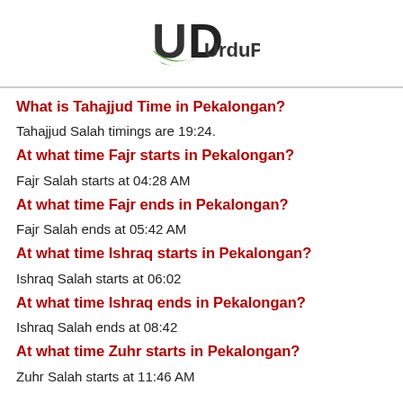UrduPoint
What is Tahajjud Time in Pekalongan?
Tahajjud Salah timings are 19:24.
At what time Fajr starts in Pekalongan?
Fajr Salah starts at 04:28 AM
At what time Fajr ends in Pekalongan?
Fajr Salah ends at 05:42 AM
At what time Ishraq starts in Pekalongan?
Ishraq Salah starts at 06:02
At what time Ishraq ends in Pekalongan?
Ishraq Salah ends at 08:42
At what time Zuhr starts in Pekalongan?
Zuhr Salah starts at 11:46 AM